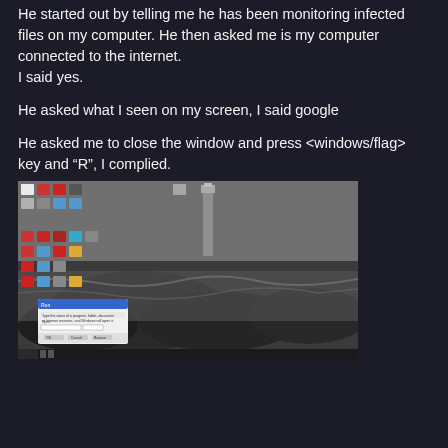He started out by telling me he has been monitoring infected files on my computer. He then asked me is my computer connected to the internet.
I said yes.
He asked what I seen on my screen, I said google
He asked me to close the window and press <windows/flag> key and "R", I complied.
[Figure (screenshot): Windows desktop screenshot showing a lighthouse and rocky seashore wallpaper with desktop icons on the left side and a small Run dialog box open in the lower-left area.]